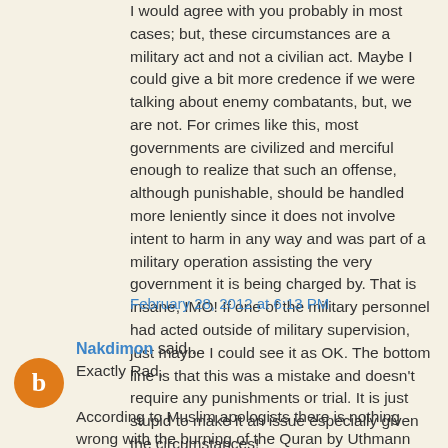I would agree with you probably in most cases; but, these circumstances are a military act and not a civilian act. Maybe I could give a bit more credence if we were talking about enemy combatants, but, we are not. For crimes like this, most governments are civilized and merciful enough to realize that such an offense, although punishable, should be handled more leniently since it does not involve intent to harm in any way and was part of a military operation assisting the very government it is being charged by. That is insane, IMO! If one of the military personnel had acted outside of military supervision, just maybe I could see it as OK. The bottom line is that this was a mistake and doesn't require any punishments or trial. It is just stupid to make it an issue especially given the circumstances!
February 28, 2012 at 6:13 PM
Nakdimon said...
Exactly Rad,
According to Muslim apologists there is nothing wrong with the burning of the Quran by Uthmann since that is